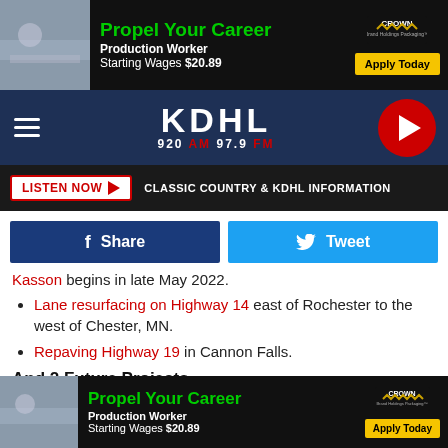[Figure (screenshot): Crown Holdings advertisement banner: Propel Your Career, Production Worker, Starting Wages $20.89, Apply Today]
[Figure (logo): KDHL 920 AM 97.9 FM radio station navigation bar with hamburger menu and play button]
[Figure (screenshot): Listen Now button and Classic Country & KDHL Information bar]
[Figure (screenshot): Facebook Share and Twitter Tweet social sharing buttons]
Kasson begins in late May 2022.
Lane resurfacing on Highway 14 east of Rochester to the west of Chester, MN.
Repaving Highway 19 in Cannon Falls.
And 2 Future Projects
Highway 218 in Blooming Prairie will be reconstructed in 2024.
Six bridges in Austin will be repaired or replaced.
[Figure (screenshot): Crown Holdings advertisement banner at bottom: Propel Your Career, Production Worker, Starting Wages $20.89, Apply Today]